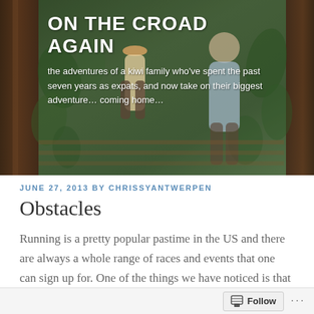[Figure (photo): Header photo of a family walking on a wooden deck/walkway surrounded by green foliage. Text overlay shows blog title and tagline.]
ON THE CROAD AGAIN
the adventures of a kiwi family who've spent the past seven years as expats, and now take on their biggest adventure… coming home…
JUNE 27, 2013 BY CHRISSYANTWERPEN
Obstacles
Running is a pretty popular pastime in the US and there are always a whole range of races and events that one can sign up for. One of the things we have noticed is that many of these events are starting to
Follow ···